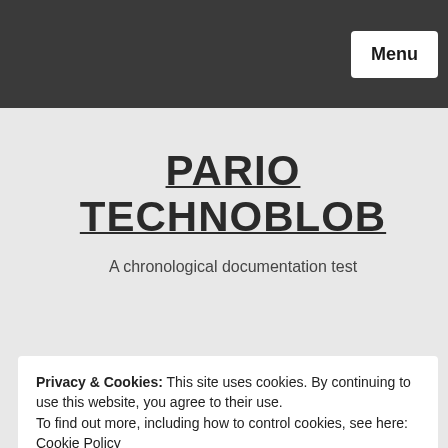Menu
PARIO TECHNOBLOB
A chronological documentation test
Privacy & Cookies: This site uses cookies. By continuing to use this website, you agree to their use.
To find out more, including how to control cookies, see here: Cookie Policy
Close and accept
Thunderbird: Check all IMAP folders for